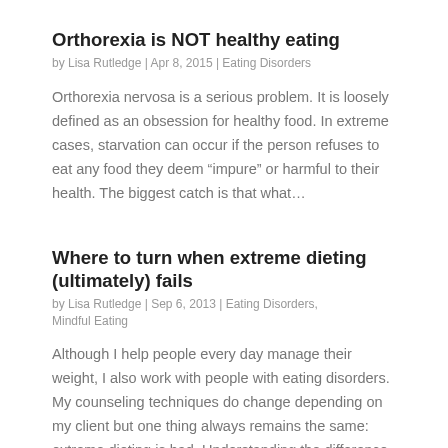Orthorexia is NOT healthy eating
by Lisa Rutledge | Apr 8, 2015 | Eating Disorders
Orthorexia nervosa is a serious problem. It is loosely defined as an obsession for healthy food. In extreme cases, starvation can occur if the person refuses to eat any food they deem “impure” or harmful to their health. The biggest catch is that what…
Where to turn when extreme dieting (ultimately) fails
by Lisa Rutledge | Sep 6, 2013 | Eating Disorders, Mindful Eating
Although I help people every day manage their weight, I also work with people with eating disorders. My counseling techniques do change depending on my client but one thing always remains the same: extreme dieting is bad. Understanding the difference…